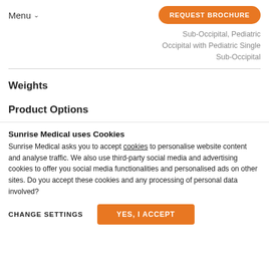Menu  REQUEST BROCHURE
Sub-Occipital, Pediatric Occipital with Pediatric Single Sub-Occipital
Weights
Product Options
Sunrise Medical uses Cookies
Sunrise Medical asks you to accept cookies to personalise website content and analyse traffic. We also use third-party social media and advertising cookies to offer you social media functionalities and personalised ads on other sites. Do you accept these cookies and any processing of personal data involved?
CHANGE SETTINGS   YES, I ACCEPT